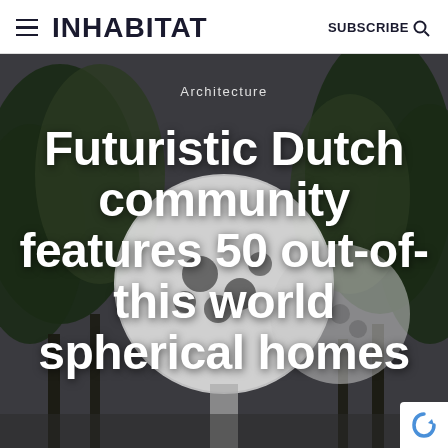INHABITAT | SUBSCRIBE
[Figure (photo): Futuristic spherical white pod homes among trees, overcast sky, dark atmospheric tone]
Architecture
Futuristic Dutch community features 50 out-of-this world spherical homes